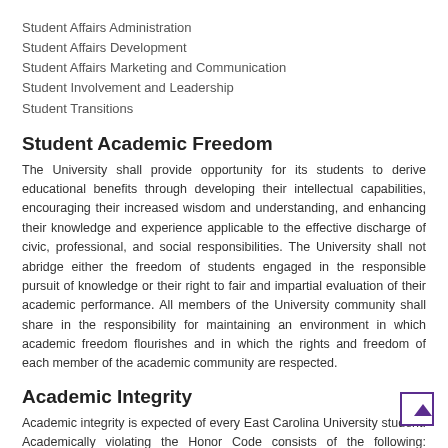Student Affairs Administration
Student Affairs Development
Student Affairs Marketing and Communication
Student Involvement and Leadership
Student Transitions
Student Academic Freedom
The University shall provide opportunity for its students to derive educational benefits through developing their intellectual capabilities, encouraging their increased wisdom and understanding, and enhancing their knowledge and experience applicable to the effective discharge of civic, professional, and social responsibilities. The University shall not abridge either the freedom of students engaged in the responsible pursuit of knowledge or their right to fair and impartial evaluation of their academic performance. All members of the University community shall share in the responsibility for maintaining an environment in which academic freedom flourishes and in which the rights and freedom of each member of the academic community are respected.
Academic Integrity
Academic integrity is expected of every East Carolina University student. Academically violating the Honor Code consists of the following: cheating, th